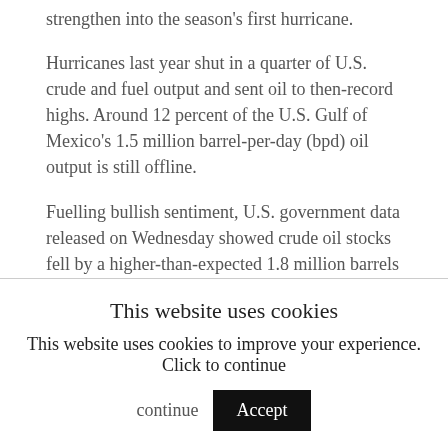strengthen into the season's first hurricane.
Hurricanes last year shut in a quarter of U.S. crude and fuel output and sent oil to then-record highs. Around 12 percent of the U.S. Gulf of Mexico's 1.5 million barrel-per-day (bpd) oil output is still offline.
Fuelling bullish sentiment, U.S. government data released on Wednesday showed crude oil stocks fell by a higher-than-expected 1.8 million barrels to 333.7 million barrels last week.
However, gasoline inventories, which had been expected to fall, were stable, dipping only 100,000 barrels, against expectations of a 1.6-million barrel
This website uses cookies
This website uses cookies to improve your experience. Click to continue
Accept